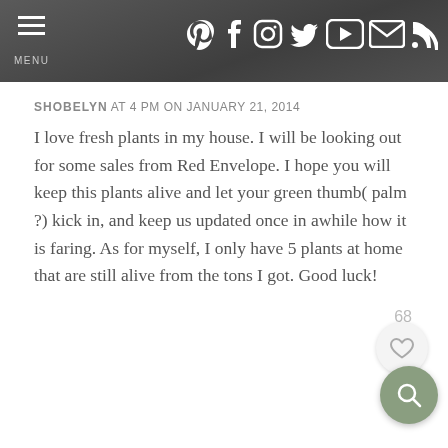MENU — social icons: Pinterest, Facebook, Instagram, Twitter, YouTube, Email, RSS
SHOBELYN AT 4 PM ON JANUARY 21, 2014
I love fresh plants in my house. I will be looking out for some sales from Red Envelope. I hope you will keep this plants alive and let your green thumb( palm ?) kick in, and keep us updated once in awhile how it is faring. As for myself, I only have 5 plants at home that are still alive from the tons I got. Good luck!
Reply
KARI AT 3 PM ON JANUARY 21, 2014
I love this! I want to get a cute little terrarium for my daughter to take when she goes away to college later this fall. A kit would so much easier. Very neat!
Reply